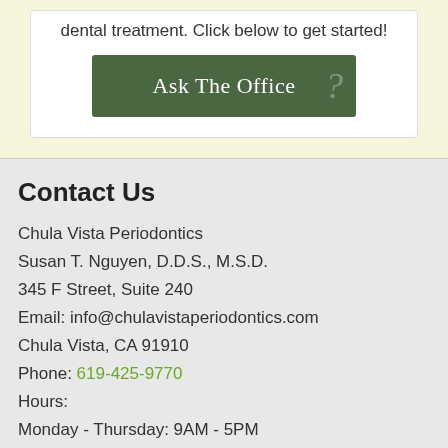dental treatment. Click below to get started!
[Figure (other): Green button labeled 'Ask The Office?' with a large decorative question mark]
Contact Us
Chula Vista Periodontics
Susan T. Nguyen, D.D.S., M.S.D.
345 F Street, Suite 240
Email: info@chulavistaperiodontics.com
Chula Vista, CA 91910
Phone: 619-425-9770
Hours:
Monday - Thursday: 9AM - 5PM
Friday: By Appointment Only
Saturday/Sunday: Closed